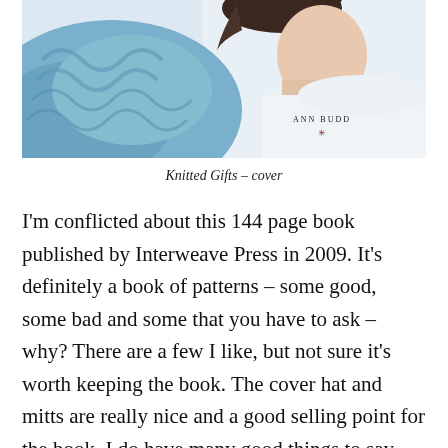[Figure (photo): Photo of a woman holding blue knitted yarn/garments, showing the cover of the book 'Knitted Gifts' by Ann Budd. The cover features soft blue tones with knitting prominently displayed.]
Knitted Gifts – cover
I'm conflicted about this 144 page book published by Interweave Press in 2009. It's definitely a book of patterns – some good, some bad and some that you have to ask – why? There are a few I like, but not sure it's worth keeping the book. The cover hat and mitts are really nice and a good selling point for the book. I do have many good things to say about Ann Budd and her editing/designing, but what was her contribution to this 37 project book?